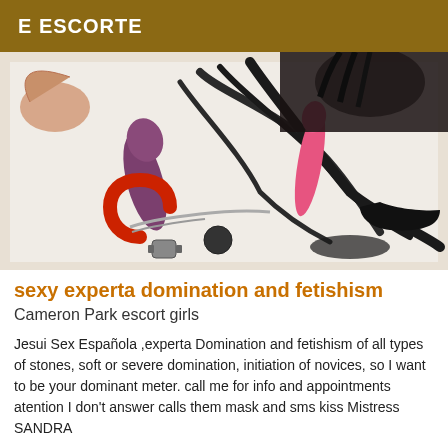E ESCORTE
[Figure (photo): Photo of various adult BDSM accessories and toys laid out on a white bed surface, with a person visible in background wearing dark clothing.]
sexy experta domination and fetishism
Cameron Park escort girls
Jesui Sex Española ,experta Domination and fetishism of all types of stones, soft or severe domination, initiation of novices, so I want to be your dominant meter. call me for info and appointments atention I don't answer calls them mask and sms kiss Mistress SANDRA